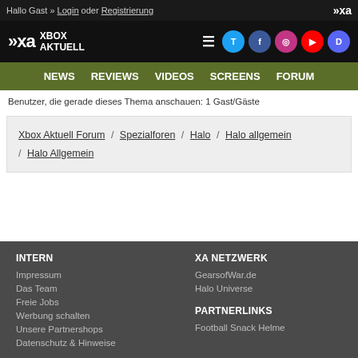Hallo Gast » Login oder Registrierung
[Figure (logo): Xbox Aktuell logo with XA icon and social media icons]
NEWS  REVIEWS  VIDEOS  SCREENS  FORUM
Benutzer, die gerade dieses Thema anschauen: 1 Gast/Gäste
Xbox Aktuell Forum / Spezialforen / Halo / Halo allgemein / Halo Allgemein
INTERN
Impressum
Das Team
Freie Jobs
Werbung schalten
Unsere Partnershops
Datenschutz & Hinweise
XA NETZWERK
GearsofWar.de
Halo Universe

PARTNERLINKS
Football Snack Helme